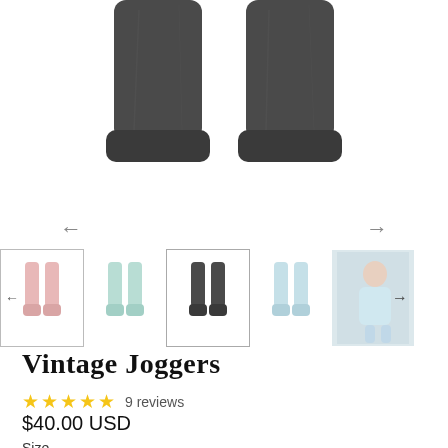[Figure (photo): Close-up bottom half of dark grey jogger pants on a model, showing the cuffed ankles]
[Figure (photo): Thumbnail gallery row showing five color variants of jogger pants and a lifestyle photo]
Vintage Joggers
★★★★★ 9 reviews
$40.00 USD
Size